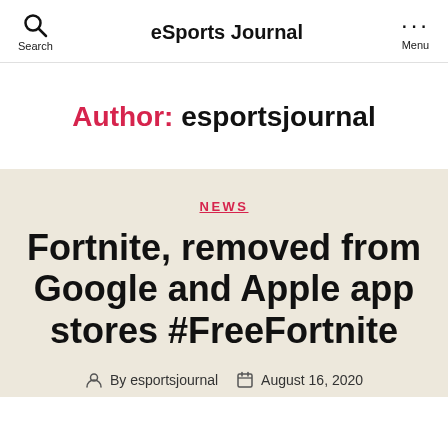eSports Journal
Author: esportsjournal
NEWS
Fortnite, removed from Google and Apple app stores #FreeFortnite
By esportsjournal   August 16, 2020